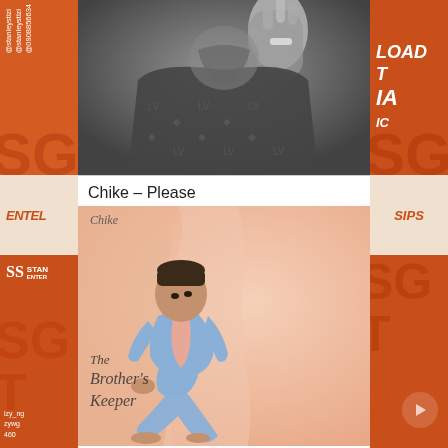[Figure (photo): Black and white photo of a person in a patterned suit jacket, face partially visible, hand raised near face]
Chike – Please
[Figure (photo): Album cover for 'The Brother's Keeper' by Chike — a young man in a blue suit sitting on the floor against a peach background, with cursive text overlay reading 'The Brother's Keeper' and 'Chike' at top]